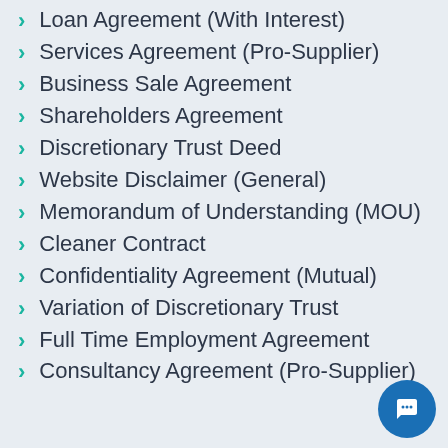Loan Agreement (With Interest)
Services Agreement (Pro-Supplier)
Business Sale Agreement
Shareholders Agreement
Discretionary Trust Deed
Website Disclaimer (General)
Memorandum of Understanding (MOU)
Cleaner Contract
Confidentiality Agreement (Mutual)
Variation of Discretionary Trust
Full Time Employment Agreement
Consultancy Agreement (Pro-Supplier)